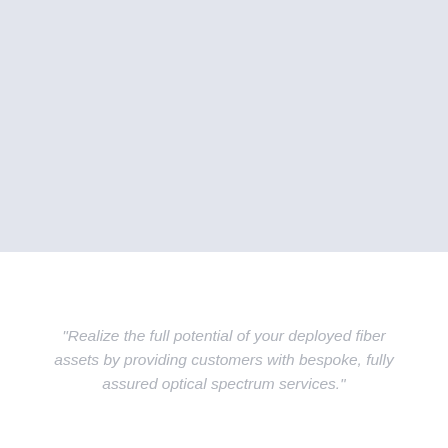[Figure (other): Large light blue-grey rectangular background block occupying the top portion of the page]
“Realize the full potential of your deployed fiber assets by providing customers with bespoke, fully assured optical spectrum services.”